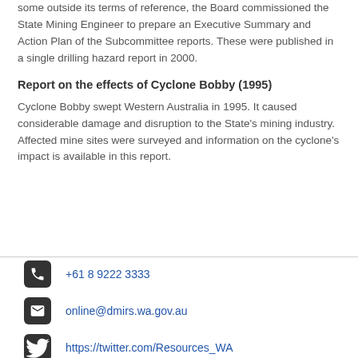some outside its terms of reference, the Board commissioned the State Mining Engineer to prepare an Executive Summary and Action Plan of the Subcommittee reports. These were published in a single drilling hazard report in 2000.
Report on the effects of Cyclone Bobby (1995)
Cyclone Bobby swept Western Australia in 1995. It caused considerable damage and disruption to the State's mining industry. Affected mine sites were surveyed and information on the cyclone's impact is available in this report.
+61 8 9222 3333
online@dmirs.wa.gov.au
https://twitter.com/Resources_WA